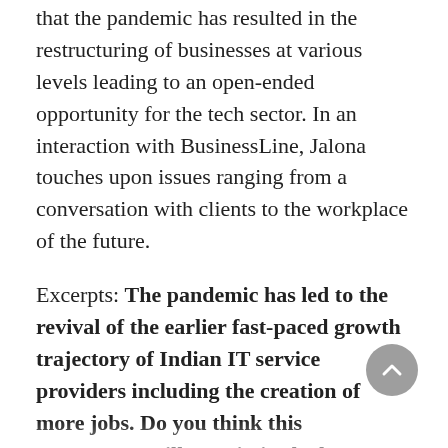that the pandemic has resulted in the restructuring of businesses at various levels leading to an open-ended opportunity for the tech sector. In an interaction with BusinessLine, Jalona touches upon issues ranging from a conversation with clients to the workplace of the future.
Excerpts: The pandemic has led to the revival of the earlier fast-paced growth trajectory of Indian IT service providers including the creation of more jobs. Do you think this momentum will sustain in the long run? Ans: If there is one thing the pandemic has taught us: it is the old adage - 'always and never are the two words you should always